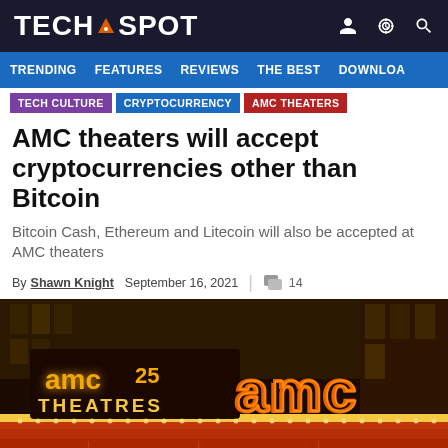TECHSPOT
TRENDING  FEATURES  REVIEWS  THE BEST  DOWNLOA
TECH CULTURE
CRYPTOCURRENCY
AMC THEATERS
AMC theaters will accept cryptocurrencies other than Bitcoin
Bitcoin Cash, Ethereum and Litecoin will also be accepted at AMC theaters
By Shawn Knight  September 16, 2021  |  14
[Figure (photo): AMC 25 Theatres neon sign at night with illuminated orange and yellow AMC logo signage]